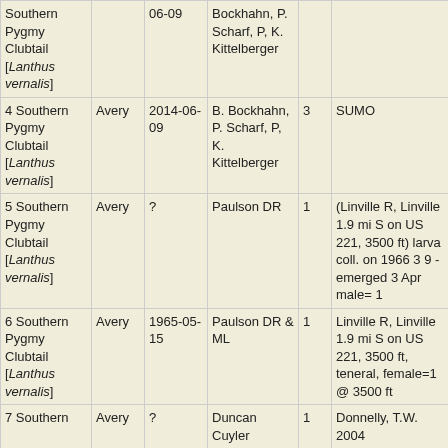| Species | County | Date | Observer | Count | Location/Notes | Method |
| --- | --- | --- | --- | --- | --- | --- |
| Southern Pygmy Clubtail [Lanthus vernalis] |  | 06-09 | Bockhahn, P. Scharf, P, K. Kittelberger |  |  |  |
| 4 Southern Pygmy Clubtail [Lanthus vernalis] | Avery | 2014-06-09 | B. Bockhahn, P. Scharf, P, K. Kittelberger | 3 | SUMO | Sight |
| 5 Southern Pygmy Clubtail [Lanthus vernalis] | Avery | ? | Paulson DR | 1 | (Linville R, Linville 1.9 mi S on US 221, 3500 ft) larva coll. on 1966 3 9 - emerged 3 Apr male= 1 | Collect |
| 6 Southern Pygmy Clubtail [Lanthus vernalis] | Avery | 1965-05-15 | Paulson DR & ML | 1 | Linville R, Linville 1.9 mi S on US 221, 3500 ft, teneral, female=1 @ 3500 ft | Collect |
| 7 Southern | Avery | ? | Duncan Cuyler | 1 | Donnelly, T.W. 2004 | d |